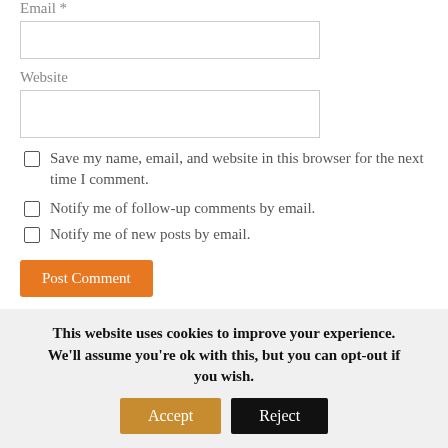Email *
Website
Save my name, email, and website in this browser for the next time I comment.
Notify me of follow-up comments by email.
Notify me of new posts by email.
Post Comment
This site uses Akismet to reduce spam. Learn how your comment data is processed.
This website uses cookies to improve your experience. We'll assume you're ok with this, but you can opt-out if you wish.
Accept
Reject